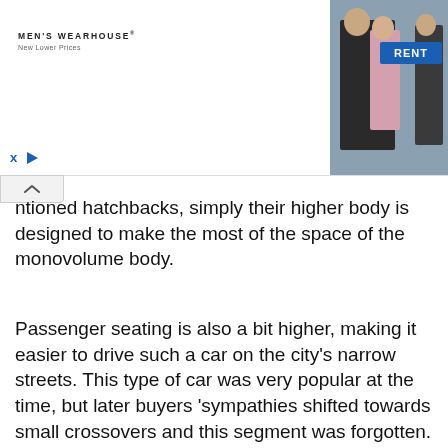[Figure (photo): Men's Wearhouse advertisement banner showing a couple in formal wear and a man in a suit, with a RENT button]
ntioned hatchbacks, simply their higher body is designed to make the most of the space of the monovolume body.
Passenger seating is also a bit higher, making it easier to drive such a car on the city's narrow streets. This type of car was very popular at the time, but later buyers 'sympathies shifted towards small crossovers and this segment was forgotten. Some models are still in production, some have evolved into SUVs, as happened with Peugeot 3008 model.